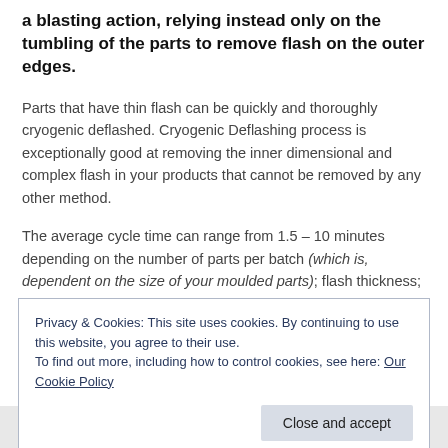a blasting action, relying instead only on the tumbling of the parts to remove flash on the outer edges.
Parts that have thin flash can be quickly and thoroughly cryogenic deflashed. Cryogenic Deflashing process is exceptionally good at removing the inner dimensional and complex flash in your products that cannot be removed by any other method.
The average cycle time can range from 1.5 – 10 minutes depending on the number of parts per batch (which is, dependent on the size of your moulded parts); flash thickness; wheel speed; and size of media used.
Privacy & Cookies: This site uses cookies. By continuing to use this website, you agree to their use.
To find out more, including how to control cookies, see here: Our Cookie Policy
[Figure (photo): Partial bottom strip showing a dark blue image thumbnail between two vertical lines]